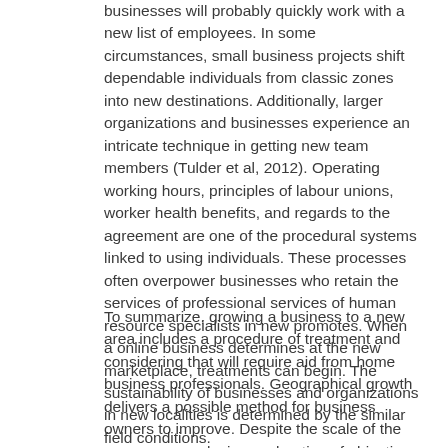businesses will probably quickly work with a new list of employees. In some circumstances, small business projects shift dependable individuals from classic zones into new destinations. Additionally, larger organizations and businesses experience an intricate technique in getting new team members (Tulder et al, 2012). Operating working hours, principles of labour unions, worker health benefits, and regards to the agreement are one of the procedural systems linked to using individuals. These processes often overpower businesses who retain the services of professional services of human resource specialists in new promotes. When a online business determines at the new marketplace, treatments can begin. The sustainability of businesses and organizations in new localities is determined by the similar field conditions.
To summarize, growing a business to a new area includes a procedure of treatment and considering that will require aid from home business professionals. Geographical growth delivers a possible method for business owners to improve. Despite the scale of the company, conclusive exploration of objective areas is known as a practical way